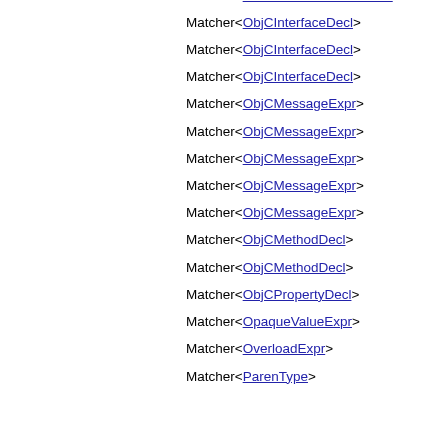Matcher<OMPExecutableDirective>
Matcher<ObjCInterfaceDecl>
Matcher<ObjCInterfaceDecl>
Matcher<ObjCInterfaceDecl>
Matcher<ObjCMessageExpr>
Matcher<ObjCMessageExpr>
Matcher<ObjCMessageExpr>
Matcher<ObjCMessageExpr>
Matcher<ObjCMessageExpr>
Matcher<ObjCMethodDecl>
Matcher<ObjCMethodDecl>
Matcher<ObjCPropertyDecl>
Matcher<OpaqueValueExpr>
Matcher<OverloadExpr>
Matcher<ParenType>